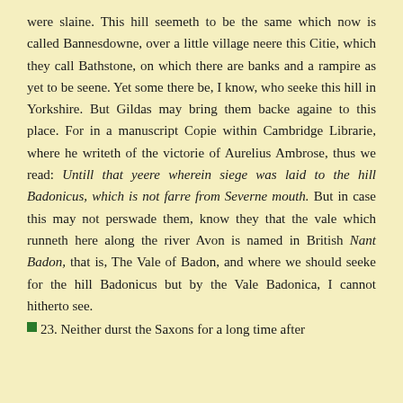were slaine. This hill seemeth to be the same which now is called Bannesdowne, over a little village neere this Citie, which they call Bathstone, on which there are banks and a rampire as yet to be seene. Yet some there be, I know, who seeke this hill in Yorkshire. But Gildas may bring them backe againe to this place. For in a manuscript Copie within Cambridge Librarie, where he writeth of the victorie of Aurelius Ambrose, thus we read: Untill that yeere wherein siege was laid to the hill Badonicus, which is not farre from Severne mouth. But in case this may not perswade them, know they that the vale which runneth here along the river Avon is named in British Nant Badon, that is, The Vale of Badon, and where we should seeke for the hill Badonicus but by the Vale Badonica, I cannot hitherto see.
23. Neither durst the Saxons for a long time after